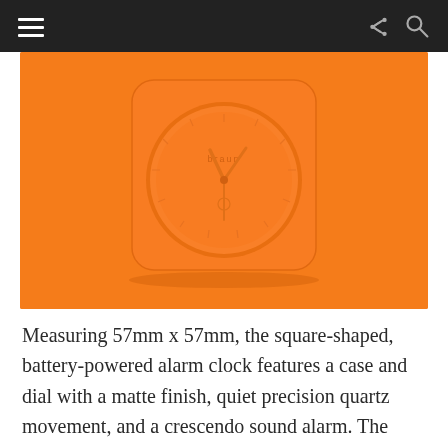navigation header with hamburger menu, share icon, and search icon
[Figure (photo): Orange Braun BCO2 square alarm clock against an orange background. The clock is monochromatic orange with a circular face, hands, and a square case with rounded corners.]
Measuring 57mm x 57mm, the square-shaped, battery-powered alarm clock features a case and dial with a matte finish, quiet precision quartz movement, and a crescendo sound alarm. The back of its case features controls for the quartz movement along with the fashion label's branding. The BCO2 model also includes Off-